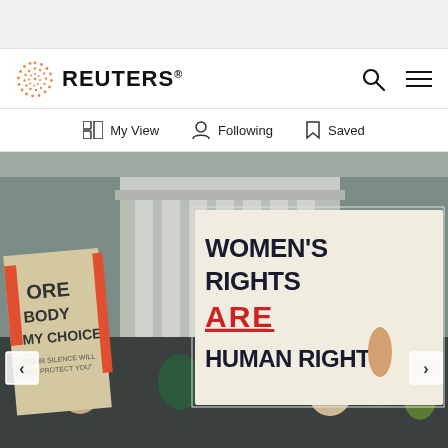[Figure (logo): Reuters logo with orange dotted circle and REUTERS text in bold]
[Figure (photo): Women's rights protest photo showing crowd holding signs including 'WOMEN'S RIGHTS ARE HUMAN RIGHTS' and 'MY BODY MY CHOICE' in front of a government building]
My View  Following  Saved